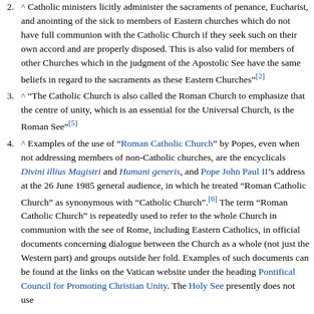2. ^ Catholic ministers licitly administer the sacraments of penance, Eucharist, and anointing of the sick to members of Eastern churches which do not have full communion with the Catholic Church if they seek such on their own accord and are properly disposed. This is also valid for members of other Churches which in the judgment of the Apostolic See have the same beliefs in regard to the sacraments as these Eastern Churches"[2]
3. ^ "The Catholic Church is also called the Roman Church to emphasize that the centre of unity, which is an essential for the Universal Church, is the Roman See"[5]
4. ^ Examples of the use of "Roman Catholic Church" by Popes, even when not addressing members of non-Catholic churches, are the encyclicals Divini illius Magistri and Humani generis, and Pope John Paul II's address at the 26 June 1985 general audience, in which he treated "Roman Catholic Church" as synonymous with "Catholic Church".[6] The term "Roman Catholic Church" is repeatedly used to refer to the whole Church in communion with the see of Rome, including Eastern Catholics, in official documents concerning dialogue between the Church as a whole (not just the Western part) and groups outside her fold. Examples of such documents can be found at the links on the Vatican website under the heading Pontifical Council for Promoting Christian Unity. The Holy See presently does not use